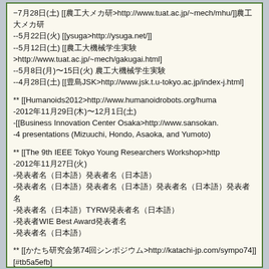−7月28日(土) [[農工大メカ研>http://www.tuat.ac.jp/~mech/mhu/]]農工大メカ研
--5月22日(火) [[ysuga>http://ysuga.net/]]
--5月12日(土) [[農工大機械学生実験>http://www.tuat.ac.jp/~mech/gakugai.html]
--5月8日(月)〜15日(火) 農工大機械学生実験
--4月28日(土) [[豊島JSK>http://www.jsk.t.u-tokyo.ac.jp/index-j.html]
** [[Humanoids2012>http://www.humanoidrobots.org/humanoids2012/]]
-2012年11月29日(木)〜12月1日(土)
-[[Business Innovation Center Osaka>http://www.sansokan.
-4 presentations (Mizuuchi, Hondo, Asaoka, and Yumoto)
** [[The 9th IEEE Tokyo Young Researchers Workshop>http://...]
-2012年11月27日(火)
-発表者名（日本語）
-発表者名（日本語）発表者名（日本語）発表者名
-発表者名（日本語）TYRW発表者名（日本語）
-発表者WIE Best Award発表者名
-発表者名（日本語）
** [[かたち研究会第74回シンポジウム>http://katachi-jp.com/sympo74]] [#tb5a5efb]
-2012年11月16日(金)〜18日(日)
-発表者名（日本語）発表者名（日本語）
-発表者名（日本語）発表者名（日本語）
** [[農工大>http://www.tuat.ac.jp/~kagiten/]] [#o9572dfa]